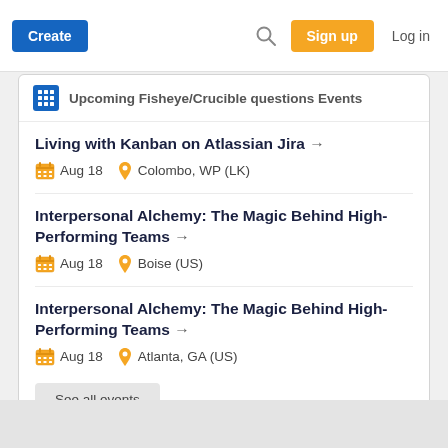Create   [search]   Sign up   Log in
Upcoming Fisheye/Crucible questions Events
Living with Kanban on Atlassian Jira → Aug 18  Colombo, WP (LK)
Interpersonal Alchemy: The Magic Behind High-Performing Teams → Aug 18  Boise (US)
Interpersonal Alchemy: The Magic Behind High-Performing Teams → Aug 18  Atlanta, GA (US)
See all events